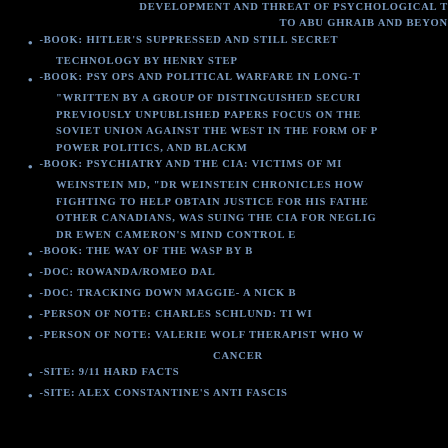DEVELOPMENT AND THREAT OF PSYCHOLOGICAL TO ABU GHRAIB AND BEYOND
-BOOK: HITLER'S SUPPRESSED AND STILL SECRET TECHNOLOGY BY HENRY STEP
-BOOK: PSY OPS AND POLITICAL WARFARE IN LONG-T "WRITTEN BY A GROUP OF DISTINGUISHED SECURI PREVIOUSLY UNPUBLISHED PAPERS FOCUS ON THE SOVIET UNION AGAINST THE WEST IN THE FORM OF P POWER POLITICS, AND BLACKM
-BOOK: PSYCHIATRY AND THE CIA: VICTIMS OF MI WEINSTEIN MD, "DR WEINSTEIN CHRONICLES HOW FIGHTING TO HELP OBTAIN JUSTICE FOR HIS FATHE OTHER CANADIANS, WAS SUING THE CIA FOR NEGLIG DR EWEN CAMERON'S MIND CONTROL E
-BOOK: THE WAY OF THE WASP BY B
-DOC: ROWANDA/ROMEO DAL
-DOC: TRACKING DOWN MAGGIE- A NICK B
-PERSON OF NOTE: CHARLES SCHLUND: TI WI
-PERSON OF NOTE: VALERIE WOLF THERAPIST WHO W CANCER
-SITE: 9/11 HARD FACTS
-SITE: ALEX CONSTANTINE'S ANTI FASCIS